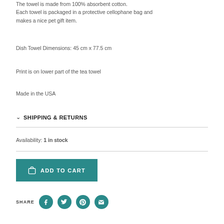The towel is made from 100% absorbent cotton. Each towel is packaged in a protective cellophane bag and makes a nice pet gift item.
Dish Towel Dimensions: 45 cm  x 77.5 cm
Print is on lower part of the tea towel
Made in the USA
SHIPPING & RETURNS
Availability: 1 in stock
ADD TO CART
SHARE